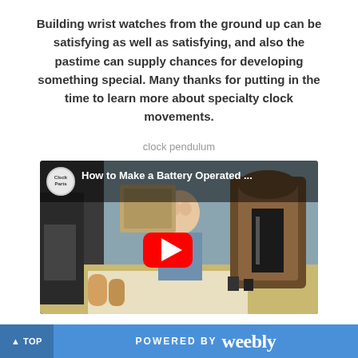Building wrist watches from the ground up can be satisfying as well as satisfying, and also the pastime can supply chances for developing something special. Many thanks for putting in the time to learn more about specialty clock movements.
clock pendulum
[Figure (screenshot): Embedded YouTube video thumbnail showing a man in a workshop with clock parts, title reads 'How to Make a Battery Operated...' with ClockParts channel icon and a YouTube play button overlay.]
▲ TOP    POWERED BY weebly